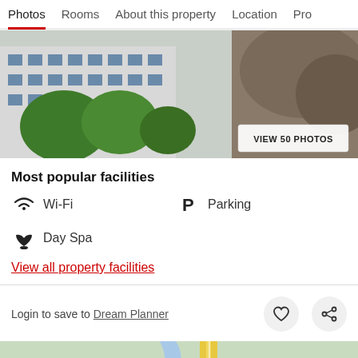Photos   Rooms   About this property   Location   Pro
[Figure (photo): Exterior photo of a hotel building with trees and rocky hillside. A button reads 'VIEW 50 PHOTOS'.]
Most popular facilities
Wi-Fi
Parking
Day Spa
View all property facilities
Login to save to Dream Planner
[Figure (map): Map showing road and waterway near the property location.]